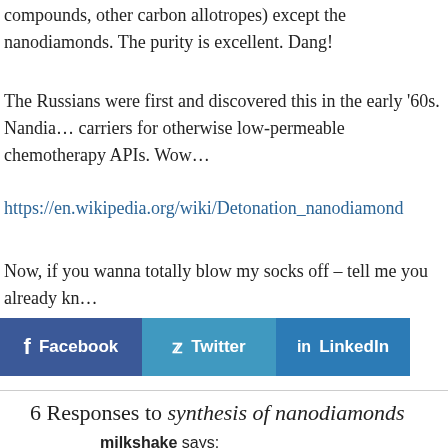compounds, other carbon allotropes) except the nanodiamonds. The purity is excellent. Dang!
The Russians were first and discovered this in the early '60s. Nanodiamonds are carriers for otherwise low-permeable chemotherapy APIs. Wow…
https://en.wikipedia.org/wiki/Detonation_nanodiamond
Now, if you wanna totally blow my socks off – tell me you already kn…
[Figure (infographic): Social share bar with Facebook, Twitter, and LinkedIn buttons]
6 Responses to synthesis of nanodiamonds
milkshake says:
September 11th, 2014 at 10:08 PM
A friend is working for a little company doing surface covalent treatment creates carboxyl functionalities on the surface, which nanodiamonds are quite cheap – few USD per gram in bulk. U…